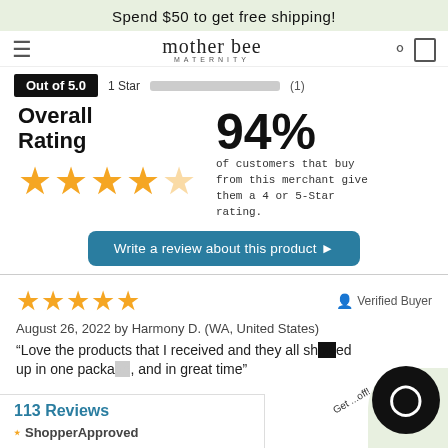Spend $50 to get free shipping!
[Figure (logo): Mother Bee Maternity logo with script font and MATERNITY subtitle]
Out of 5.0   1 Star (1)
Overall Rating
94% of customers that buy from this merchant give them a 4 or 5-Star rating.
[Figure (infographic): 4.5 out of 5 stars overall rating shown as large orange stars]
Write a review about this product ▶
★★★★★
Verified Buyer
August 26, 2022 by Harmony D. (WA, United States)
"Love the products that I received and they all showed up in one package, and in great time"
113 Reviews
[Figure (logo): ShopperApproved logo with star icon]